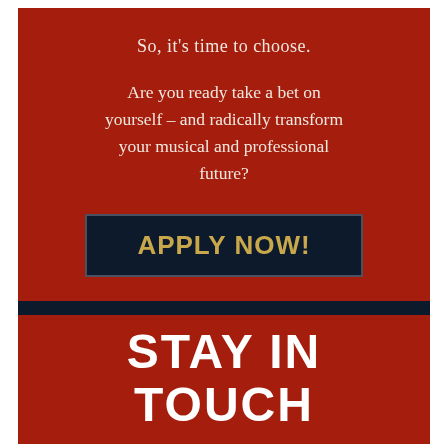So, it's time to choose.
Are you ready take a bet on yourself – and radically transform your musical and professional future?
APPLY NOW!
STAY IN TOUCH